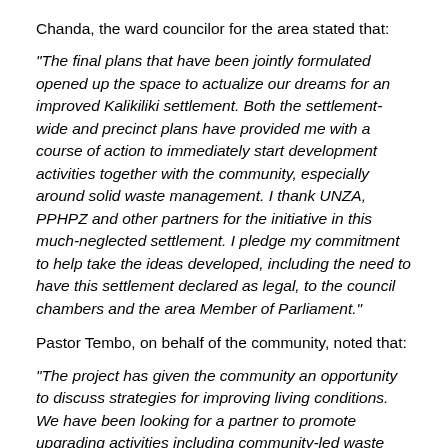Chanda, the ward councilor for the area stated that:
“The final plans that have been jointly formulated opened up the space to actualize our dreams for an improved Kalikiliki settlement. Both the settlement-wide and precinct plans have provided me with a course of action to immediately start development activities together with the community, especially around solid waste management. I thank UNZA, PPHPZ and other partners for the initiative in this much-neglected settlement. I pledge my commitment to help take the ideas developed, including the need to have this settlement declared as legal, to the council chambers and the area Member of Parliament.”
Pastor Tembo, on behalf of the community, noted that:
“The project has given the community an opportunity to discuss strategies for improving living conditions. We have been looking for a partner to promote upgrading activities including community-led waste management. We are ready to